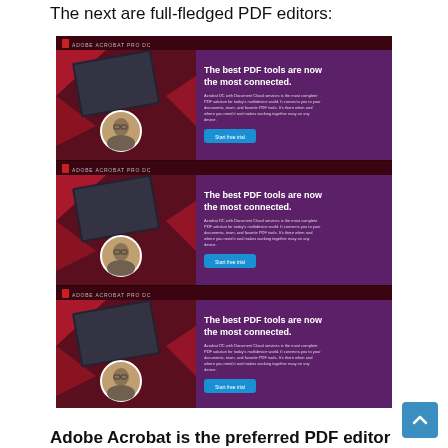The next are full-fledged PDF editors:
[Figure (screenshot): Three repeated Adobe Acrobat Pro DC advertisement banners showing 'The best PDF tools are now the most connected.' with a person image, device screenshots, decorative red shapes, purple right panel with headline, body text, and a 'Start free trial' button.]
Adobe Acrobat is the preferred PDF editor